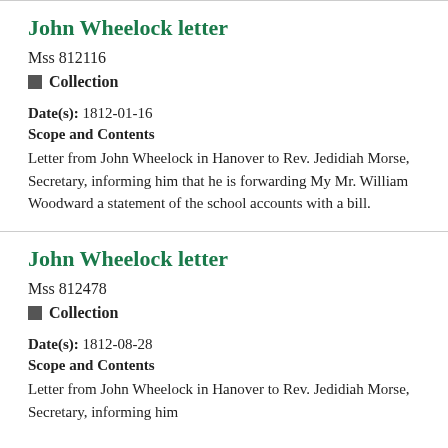John Wheelock letter
Mss 812116
Collection
Date(s): 1812-01-16
Scope and Contents
Letter from John Wheelock in Hanover to Rev. Jedidiah Morse, Secretary, informing him that he is forwarding My Mr. William Woodward a statement of the school accounts with a bill.
John Wheelock letter
Mss 812478
Collection
Date(s): 1812-08-28
Scope and Contents
Letter from John Wheelock in Hanover to Rev. Jedidiah Morse, Secretary, informing him